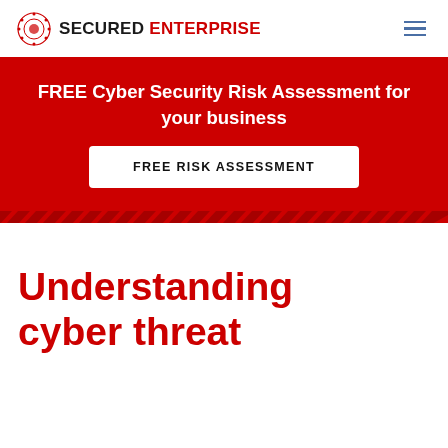SECURED ENTERPRISE
FREE Cyber Security Risk Assessment for your business
FREE RISK ASSESSMENT
Understanding cyber threat